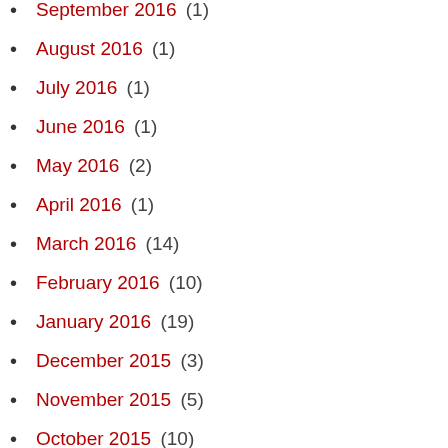September 2016 (1)
August 2016 (1)
July 2016 (1)
June 2016 (1)
May 2016 (2)
April 2016 (1)
March 2016 (14)
February 2016 (10)
January 2016 (19)
December 2015 (3)
November 2015 (5)
October 2015 (10)
September 2015 (9)
August 2015 (16)
July 2015 (13)
June 2015 (4)
May 2015 (2)